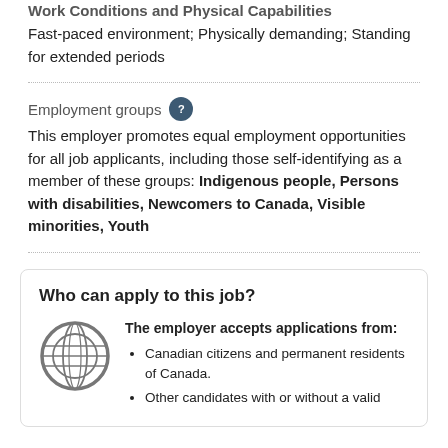Work Conditions and Physical Capabilities
Fast-paced environment; Physically demanding; Standing for extended periods
Employment groups
This employer promotes equal employment opportunities for all job applicants, including those self-identifying as a member of these groups: Indigenous people, Persons with disabilities, Newcomers to Canada, Visible minorities, Youth
Who can apply to this job?
The employer accepts applications from:
Canadian citizens and permanent residents of Canada.
Other candidates with or without a valid Canadian work permit.